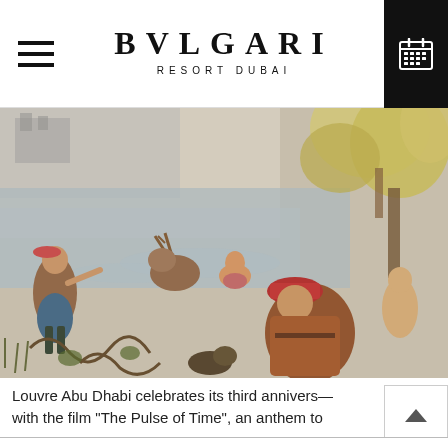BVLGARI RESORT DUBAI
[Figure (photo): A historical tapestry depicting a riverside hunting or battle scene with multiple figures in period costume, animals, and lush foliage. Figures include hunters, a woman in water, a man in a red hat in the foreground, and others amid scrolling decorative vegetation.]
Louvre Abu Dhabi celebrates its third annivers— with the film "The Pulse of Time", an anthem to